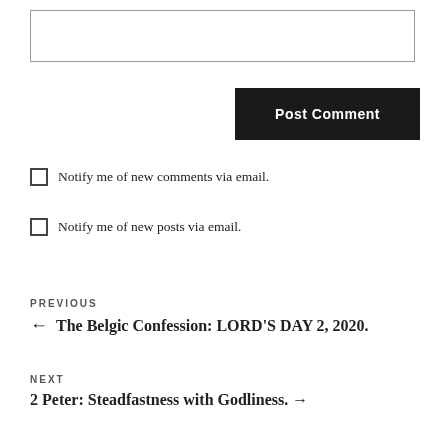[Figure (other): Text input box (comment form field)]
Post Comment
Notify me of new comments via email.
Notify me of new posts via email.
PREVIOUS
← The Belgic Confession: LORD'S DAY 2, 2020.
NEXT
2 Peter: Steadfastness with Godliness. →